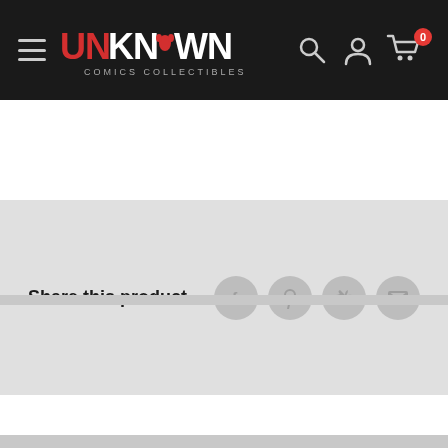UNKNOWN COMICS COLLECTIBLES GAMES
Share this product
Description
PATHFINDER ADVENTURE CARD GAME RISE OF RUNELORDS
FORTRESS OF THE STONE GIANTS ADVENTURE DECK